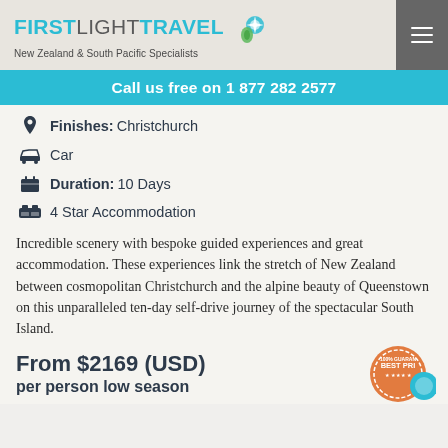FIRSTLIGHTTRAVEL — New Zealand & South Pacific Specialists
Call us free on 1 877 282 2577
Finishes: Christchurch
Car
Duration: 10 Days
4 Star Accommodation
Incredible scenery with bespoke guided experiences and great accommodation. These experiences link the stretch of New Zealand between cosmopolitan Christchurch and the alpine beauty of Queenstown on this unparalleled ten-day self-drive journey of the spectacular South Island.
From $2169 (USD) per person low season